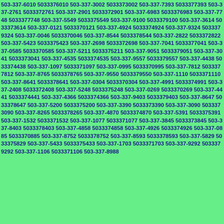503-337-6010 5033376010 503-337-3002 5033373002 503-337-7393 5033377393 503-337-2761 5033372761 503-337-2901 5033372901 503-337-6983 5033376983 503-337-7748 5033377748 503-337-5549 5033375549 503-337-9100 5033379100 503-337-3614 5033373614 503-337-0121 5033370121 503-337-4924 5033374924 503-337-9324 5033379324 503-337-0046 5033370046 503-337-8544 5033378544 503-337-2822 5033372822 503-337-5423 5033375423 503-337-2698 5033372698 503-337-7041 5033377041 503-337-0585 5033370585 503-337-5211 5033375211 503-337-9051 5033379051 503-337-3041 5033373041 503-337-4535 5033374535 503-337-9557 5033379557 503-337-4438 5033374438 503-337-1097 5033371097 503-337-0995 5033370995 503-337-7812 5033377812 503-337-8765 5033378765 503-337-9550 5033379550 503-337-1110 5033371110 503-337-8641 5033378641 503-337-0304 5033370304 503-337-4991 5033374991 503-337-2408 5033372408 503-337-5248 5033375248 503-337-0269 5033370269 503-337-4441 5033374441 503-337-4366 5033374366 503-337-9403 5033379403 503-337-8647 5033378647 503-337-5200 5033375200 503-337-3390 5033373390 503-337-3090 5033373090 503-337-8265 5033378265 503-337-4870 5033374870 503-337-5391 5033375391 503-337-1532 5033371532 503-337-1077 5033371077 503-337-3845 5033373845 503-337-8403 5033378403 503-337-4858 5033374858 503-337-4926 5033374926 503-337-0885 5033370885 503-337-8752 5033378752 503-337-8593 5033378593 503-337-5829 5033375829 503-337-5433 5033375433 503-337-1703 5033371703 503-337-9292 5033379292 503-337-1106 5033371106 503-337-8988